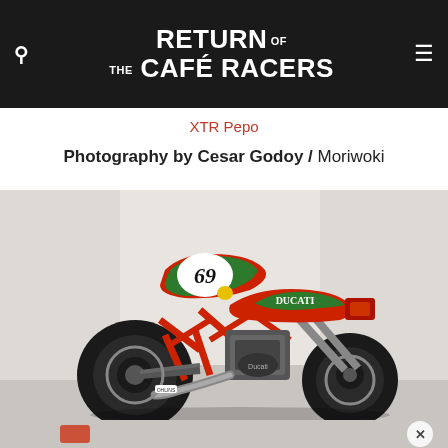RETURN OF THE CAFÉ RACERS
XTR Pepo
Photography by Cesar Godoy / Moriwoki
[Figure (photo): Custom Ducati cafe racer motorcycle with red frame, green and red bodywork with number 69, photographed against a white wall]
[Figure (photo): Partial view of bottom strip with close button X]